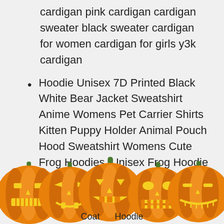cardigan pink cardigan cardigan sweater black sweater cardigan for women cardigan for girls y3k cardigan
Hoodie Unisex 7D Printed Black White Bear Jacket Sweatshirt Anime Womens Pet Carrier Shirts Kitten Puppy Holder Animal Pouch Hood Sweatshirt Womens Cute Frog Hoodies, Unisex Frog Hoodie Zipper Mouth Cosplay Costume Pullover My Hero
[Figure (illustration): Row of five jack-o-lantern pumpkins with glowing yellow faces, each with different carved expressions, orange bodies with green stems, partially overlapping text below]
Coat Hoodie